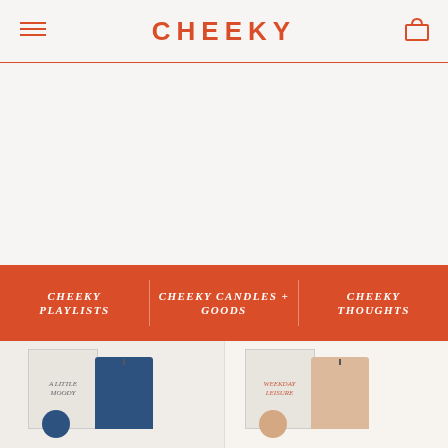CHEEKY
[Figure (illustration): Large blank hero area below header, light beige/grey background]
CHEEKY PLAYLISTS | CHEEKY CANDLES + GOODS | CHEEKY THOUGHTS
[Figure (photo): Product photo: 'A LITTLE MOODY' candle box (white with blue dot) next to a navy blue candle jar]
[Figure (photo): Product photo: 'WEEKDAY LEISURE' candle box (white with pink/coral text) next to a peach/beige candle jar]